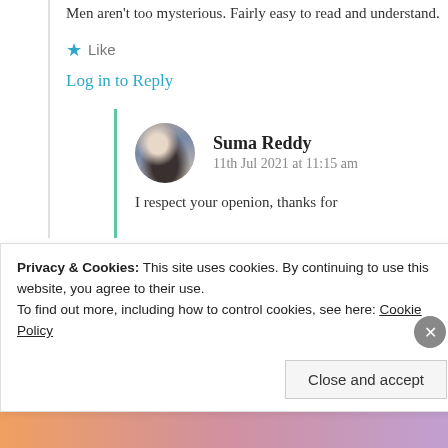Men aren't too mysterious. Fairly easy to read and understand.
★ Like
Log in to Reply
Suma Reddy
11th Jul 2021 at 11:15 am
I respect your openion, thanks for
Privacy & Cookies: This site uses cookies. By continuing to use this website, you agree to their use.
To find out more, including how to control cookies, see here: Cookie Policy
Close and accept